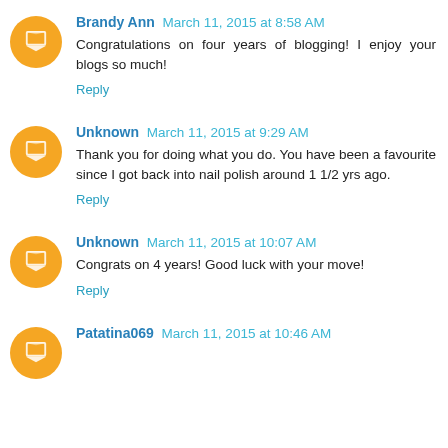Brandy Ann March 11, 2015 at 8:58 AM
Congratulations on four years of blogging! I enjoy your blogs so much!
Reply
Unknown March 11, 2015 at 9:29 AM
Thank you for doing what you do. You have been a favourite since I got back into nail polish around 1 1/2 yrs ago.
Reply
Unknown March 11, 2015 at 10:07 AM
Congrats on 4 years! Good luck with your move!
Reply
Patatina069 March 11, 2015 at 10:46 AM